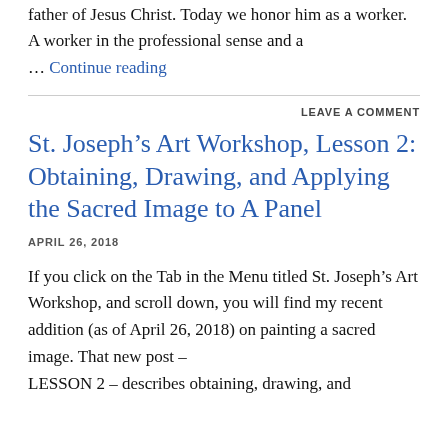father of Jesus Christ. Today we honor him as a worker. A worker in the professional sense and a … Continue reading
LEAVE A COMMENT
St. Joseph's Art Workshop, Lesson 2: Obtaining, Drawing, and Applying the Sacred Image to A Panel
APRIL 26, 2018
If you click on the Tab in the Menu titled St. Joseph's Art Workshop, and scroll down, you will find my recent addition (as of April 26, 2018) on painting a sacred image. That new post – LESSON 2 – describes obtaining, drawing, and